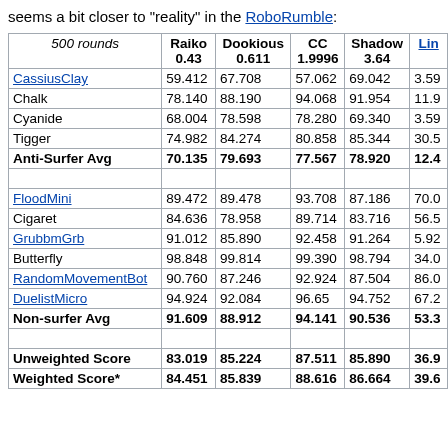seems a bit closer to "reality" in the RoboRumble:
| 500 rounds | Raiko 0.43 | Dookious 0.611 | CC 1.9996 | Shadow 3.64 | Lin… |
| --- | --- | --- | --- | --- | --- |
| CassiusClay | 59.412 | 67.708 | 57.062 | 69.042 | 3.59 |
| Chalk | 78.140 | 88.190 | 94.068 | 91.954 | 11.9 |
| Cyanide | 68.004 | 78.598 | 78.280 | 69.340 | 3.59 |
| Tigger | 74.982 | 84.274 | 80.858 | 85.344 | 30.5 |
| Anti-Surfer Avg | 70.135 | 79.693 | 77.567 | 78.920 | 12.4 |
|  |  |  |  |  |  |
| FloodMini | 89.472 | 89.478 | 93.708 | 87.186 | 70.0 |
| Cigaret | 84.636 | 78.958 | 89.714 | 83.716 | 56.5 |
| GrubbmGrb | 91.012 | 85.890 | 92.458 | 91.264 | 5.92 |
| Butterfly | 98.848 | 99.814 | 99.390 | 98.794 | 34.0 |
| RandomMovementBot | 90.760 | 87.246 | 92.924 | 87.504 | 86.0 |
| DuelistMicro | 94.924 | 92.084 | 96.65 | 94.752 | 67.2 |
| Non-surfer Avg | 91.609 | 88.912 | 94.141 | 90.536 | 53.3 |
|  |  |  |  |  |  |
| Unweighted Score | 83.019 | 85.224 | 87.511 | 85.890 | 36.9 |
| Weighted Score* | 84.451 | 85.839 | 88.616 | 86.664 | 39.6 |